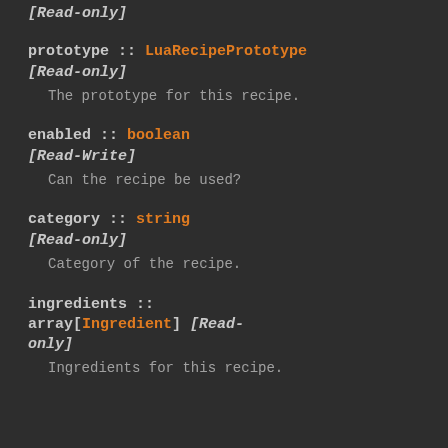[Read-only]
prototype :: LuaRecipePrototype [Read-only]
The prototype for this recipe.
enabled :: boolean [Read-Write]
Can the recipe be used?
category :: string [Read-only]
Category of the recipe.
ingredients :: array[Ingredient] [Read-only]
Ingredients for this recipe.